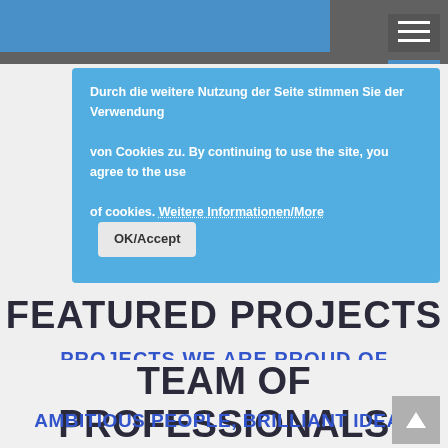[Figure (screenshot): Website header with blue bar and hamburger menu icon]
Durch die weitere Nutzung der Seite stimmen Sie der Verwendung von Cookies zu. By continuing to use the site, you agree to the use of cookies. Weitere Informationen/More   OK/Accept
FEATURED PROJECTS
PROJECTS WE ARE PROUD OF
TEAM OF PROFESSIONALS
AMBITIOUS PEOPLE, BRILLIANT IDEAS